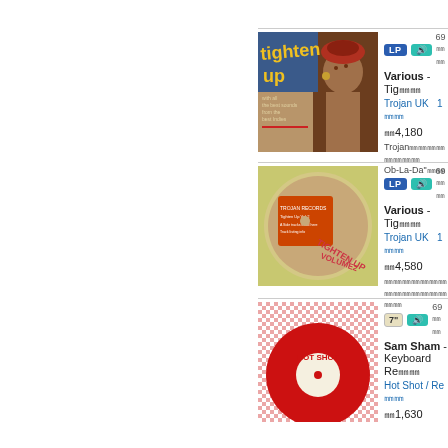[Figure (photo): Album cover: Tighten Up - woman with red hat, yellow text]
LP | sound | 69... | Various - Tig... | Trojan UK  1... | ¤4,180 | Trojan...Ob-La-Da"...
[Figure (photo): Album cover: Tighten Up Vol 2 - picture disc]
LP | sound | 69... | Various - Tig... | Trojan UK  1... | ¤4,580 | ...
[Figure (photo): 7" single: Hot Shot label - red vinyl]
7" | sound | 69... | Sam Sham - Keyboard Re... | Hot Shot / Re... | ¤1,630